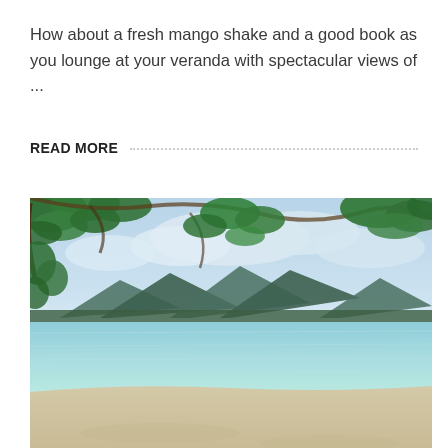How about a fresh mango shake and a good book as you lounge at your veranda with spectacular views of ...
READ MORE
[Figure (photo): A tropical beach scene viewed from beneath lush green tree branches. The photo shows calm turquoise water, a sandy beach in the foreground, and distant green mountains under a cloudy blue sky.]